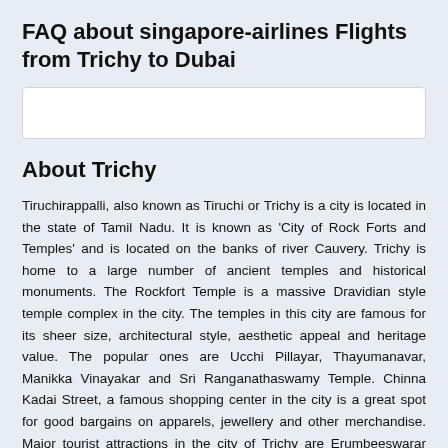FAQ about singapore-airlines Flights from Trichy to Dubai
[Figure (other): White search/input box UI element]
About Trichy
Tiruchirappalli, also known as Tiruchi or Trichy is a city is located in the state of Tamil Nadu. It is known as 'City of Rock Forts and Temples' and is located on the banks of river Cauvery. Trichy is home to a large number of ancient temples and historical monuments. The Rockfort Temple is a massive Dravidian style temple complex in the city. The temples in this city are famous for its sheer size, architectural style, aesthetic appeal and heritage value. The popular ones are Ucchi Pillayar, Thayumanavar, Manikka Vinayakar and Sri Ranganathaswamy Temple. Chinna Kadai Street, a famous shopping center in the city is a great spot for good bargains on apparels, jewellery and other merchandise. Major tourist attractions in the city of Trichy are Erumbeeswarar Temple, Sri Ranganathaswamy Temple, Ucchi Pillayar,